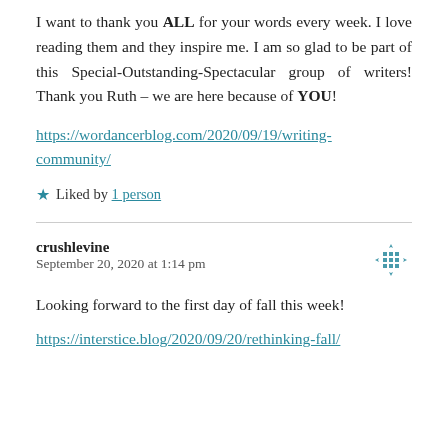I want to thank you ALL for your words every week. I love reading them and they inspire me. I am so glad to be part of this Special-Outstanding-Spectacular group of writers! Thank you Ruth – we are here because of YOU!
https://wordancerblog.com/2020/09/19/writing-community/
Liked by 1 person
crushlevine
September 20, 2020 at 1:14 pm
Looking forward to the first day of fall this week!
https://interstice.blog/2020/09/20/rethinking-fall/